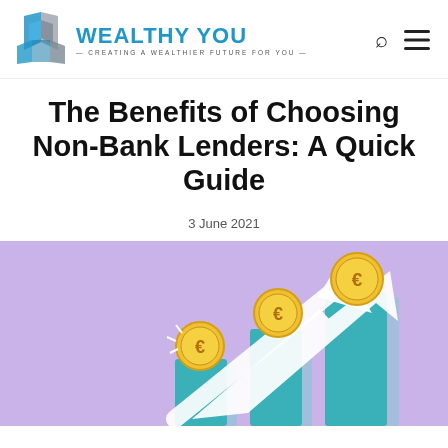Wealthy You — Creating a Wealthier Future for You
The Benefits of Choosing Non-Bank Lenders: A Quick Guide
3 June 2021
[Figure (illustration): Illustration on a lavender/purple background showing three ascending teal bar chart columns with euro coin icons floating above each bar and a white upward arrow, suggesting financial growth.]